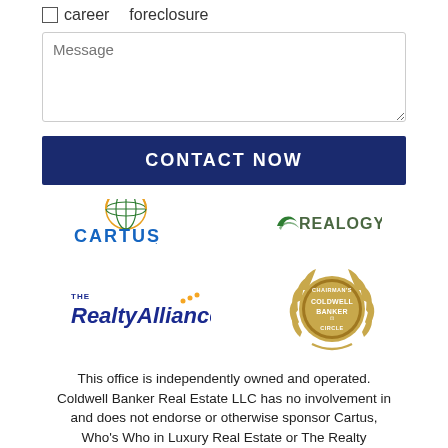career
foreclosure
Message
CONTACT NOW
[Figure (logo): Cartus logo with globe icon]
[Figure (logo): Realogy logo with swoosh icon]
[Figure (logo): The Realty Alliance logo]
[Figure (logo): Chairman's Coldwell Banker Circle medallion badge]
This office is independently owned and operated. Coldwell Banker Real Estate LLC has no involvement in and does not endorse or otherwise sponsor Cartus, Who's Who in Luxury Real Estate or The Realty Alliance.